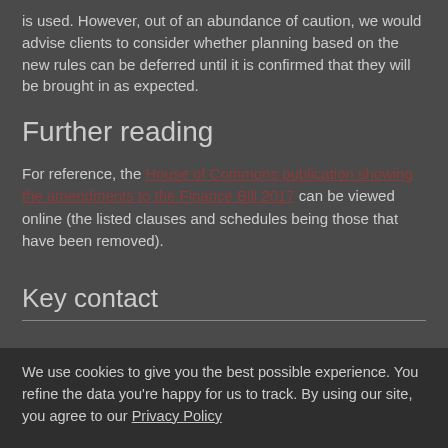is used. However, out of an abundance of caution, we would advise clients to consider whether planning based on the new rules can be deferred until it is confirmed that they will be brought in as expected.
Further reading
For reference, the House of Commons publication showing the amendments to the Finance Bill 2017 can be viewed online (the listed clauses and schedules being those that have been removed).
Key contact
We use cookies to give you the best possible experience. You refine the data you're happy for us to track. By using our site, you agree to our Privacy Policy